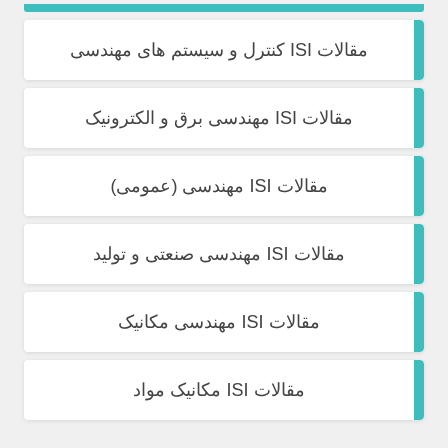مقالات ISI کنترل و سیستم های مهندسی
مقالات ISI مهندسی برق و الکترونیک
مقالات ISI مهندسی (عمومی)
مقالات ISI مهندسی صنعتی و تولید
مقالات ISI مهندسی مکانیک
مقالات ISI مکانیک مواد